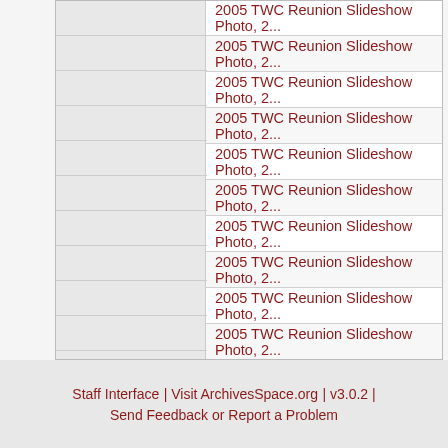|  |  |  | Title |
| --- | --- | --- | --- |
|  |  |  | 2005 TWC Reunion Slideshow Photo, 2... |
|  |  |  | 2005 TWC Reunion Slideshow Photo, 2... |
|  |  |  | 2005 TWC Reunion Slideshow Photo, 2... |
|  |  |  | 2005 TWC Reunion Slideshow Photo, 2... |
|  |  |  | 2005 TWC Reunion Slideshow Photo, 2... |
|  |  |  | 2005 TWC Reunion Slideshow Photo, 2... |
|  |  |  | 2005 TWC Reunion Slideshow Photo, 2... |
|  |  |  | 2005 TWC Reunion Slideshow Photo, 2... |
|  |  |  | 2005 TWC Reunion Slideshow Photo, 2... |
|  |  |  | 2005 TWC Reunion Slideshow Photo, 2... |
|  |  |  | 2005 TWC Reunion Slideshow Photo, 2... |
Staff Interface | Visit ArchivesSpace.org | v3.0.2 | Send Feedback or Report a Problem